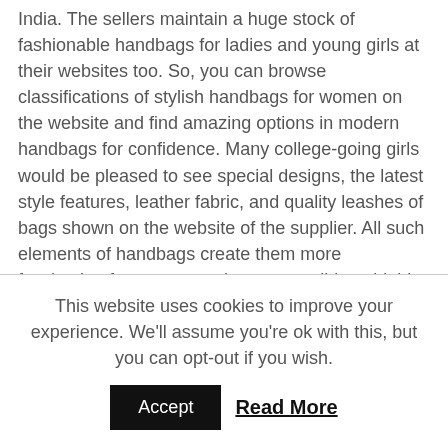India. The sellers maintain a huge stock of fashionable handbags for ladies and young girls at their websites too. So, you can browse classifications of stylish handbags for women on the website and find amazing options in modern handbags for confidence. Many college-going girls would be pleased to see special designs, the latest style features, leather fabric, and quality leashes of bags shown on the website of the supplier. All such elements of handbags create them more fascinating for women and are accessible at highly effective prices through websites of recommended suppliers in India. Thus, the women or girls looking for the popular handbags of their options, should analyze such websites and get their distinct handbags under the best sales and deals already demanded by the suppliers and dealers online and
This website uses cookies to improve your experience. We'll assume you're ok with this, but you can opt-out if you wish.
Accept   Read More